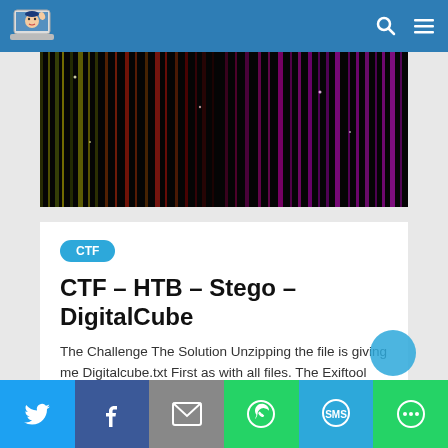CTF blog website header with logo and navigation icons
[Figure (photo): Dark abstract vertical light streaks in rainbow colors (yellow, red, purple) on black background]
CTF
CTF – HTB – Stego – DigitalCube
The Challenge The Solution Unzipping the file is giving me Digitalcube.txt First as with all files. The Exiftool Opening the file is giving me binary code. Putting it in
Twitter Facebook Email WhatsApp SMS More share buttons